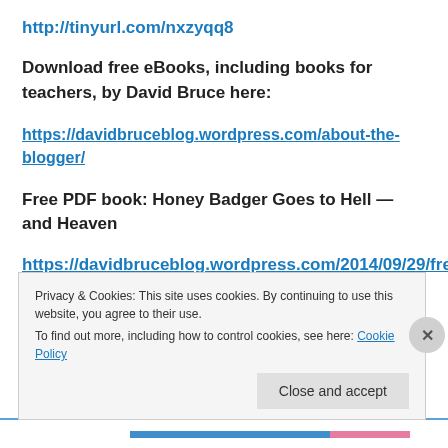http://tinyurl.com/nxzyqq8
Download free eBooks, including books for teachers, by David Bruce here:
https://davidbruceblog.wordpress.com/about-the-blogger/
Free PDF book: Honey Badger Goes to Hell — and Heaven
https://davidbruceblog.wordpress.com/2014/09/29/free
Privacy & Cookies: This site uses cookies. By continuing to use this website, you agree to their use.
To find out more, including how to control cookies, see here: Cookie Policy
Close and accept